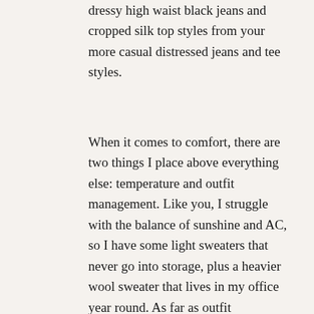dressy high waist black jeans and cropped silk top styles from your more casual distressed jeans and tee styles.
When it comes to comfort, there are two things I place above everything else: temperature and outfit management. Like you, I struggle with the balance of sunshine and AC, so I have some light sweaters that never go into storage, plus a heavier wool sweater that lives in my office year round. As far as outfit management goes, I am adamant that once I put my clothes on, I don't want to think about them for the rest of the day. I don't want to mess with belts that drift around my waist, bra straps that show on boat neck tops or sleeveless tees, skirts that fly up and reveal too much, flowy sleeves that get caught on things, or jewelry that snags on delicate material. Usually that means I'm picking super simple, low maintenance items, but when I decide that outfit is